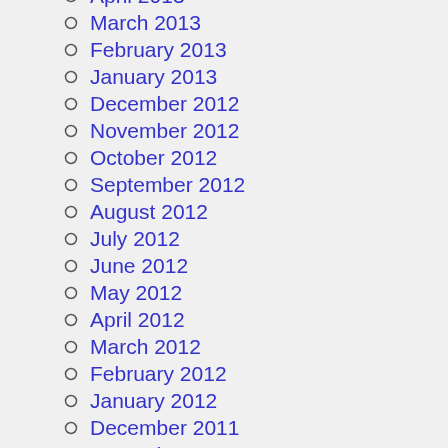April 2013
March 2013
February 2013
January 2013
December 2012
November 2012
October 2012
September 2012
August 2012
July 2012
June 2012
May 2012
April 2012
March 2012
February 2012
January 2012
December 2011
November 2011